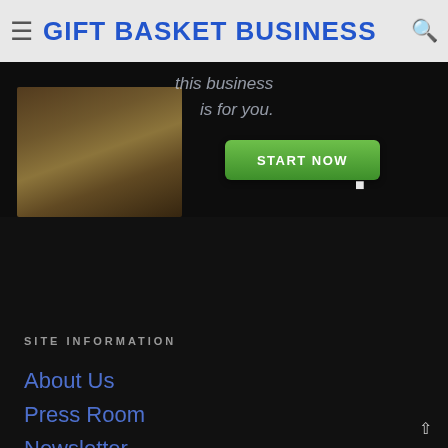GIFT BASKET BUSINESS
[Figure (photo): Banner advertisement showing gift baskets with a 'START NOW' call-to-action button on a dark background]
SITE INFORMATION
About Us
Press Room
Newsletter
Store
Advertise
Contact
Site Policy
Terms and Conditions